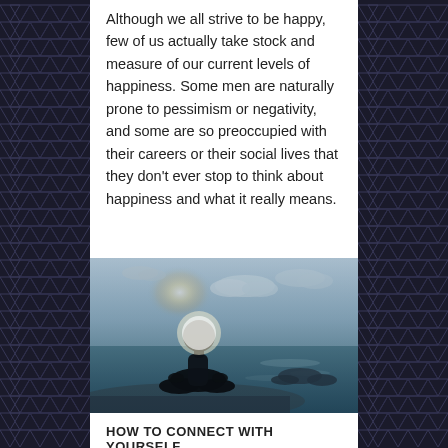Although we all strive to be happy, few of us actually take stock and measure of our current levels of happiness. Some men are naturally prone to pessimism or negativity, and some are so preoccupied with their careers or their social lives that they don't ever stop to think about happiness and what it really means.
[Figure (photo): A man sitting in a lotus meditation pose on a rocky beach or shoreline, silhouetted against a bright sky with clouds and calm water. The image has a blue-teal toned, moody atmosphere with the sun appearing to glow behind the figure's head.]
HOW TO CONNECT WITH YOURSELF